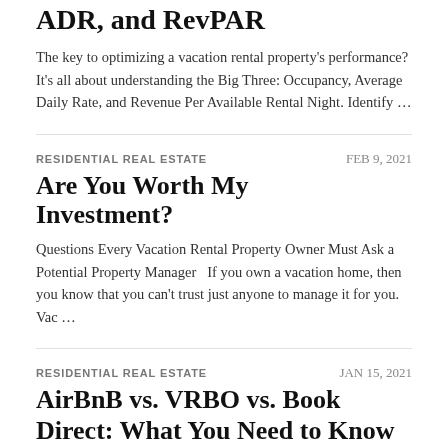ADR, and RevPAR
The key to optimizing a vacation rental property's performance? It's all about understanding the Big Three: Occupancy, Average Daily Rate, and Revenue Per Available Rental Night. Identify …
RESIDENTIAL REAL ESTATE
FEB 9, 2021
Are You Worth My Investment?
Questions Every Vacation Rental Property Owner Must Ask a Potential Property Manager   If you own a vacation home, then you know that you can't trust just anyone to manage it for you. Vac …
RESIDENTIAL REAL ESTATE
JAN 15, 2021
AirBnB vs. VRBO vs. Book Direct: What You Need to Know
By now most anyone slightly involved in short-term